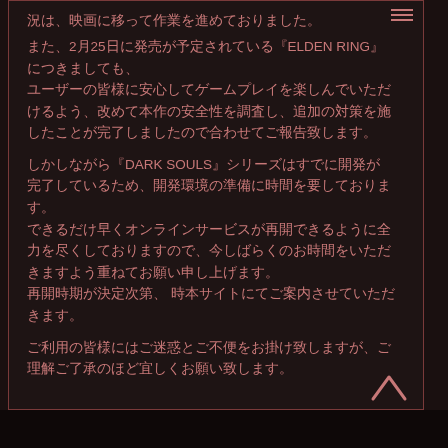況は、映画に移って作業を進めておりました。
また、2月25日に発売が予定されている『ELDEN RING』につきましても、
ユーザーの皆様に安心してゲームプレイを楽しんでいただけるよう、改めて本作の安全性を調査し、追加の対策を施したことが完了しましたので合わせてご報告致します。
しかしながら『DARK SOULS』シリーズはすでに開発が完了しているため、開発環境の準備に時間を要しております。
できるだけ早くオンラインサービスが再開できるように全力を尽くしておりますので、今しばらくのお時間をいただきますよう重ねてお願い申し上げます。
再開時期が決定次第、 時本サイトにてご案内させていただきます。
ご利用の皆様にはご迷惑とご不便をお掛け致しますが、ご理解ご了承のほど宜しくお願い致します。